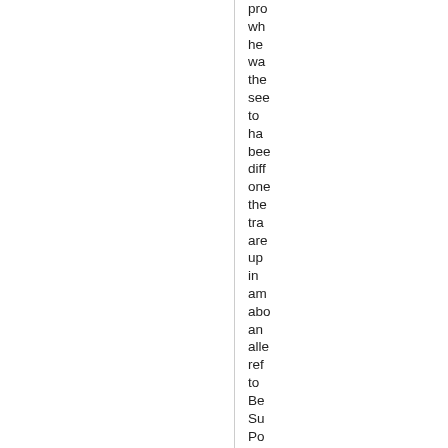pro wh he wa the see to ha bee diff one the tra are up in am abo an alle ref to Be Su Po